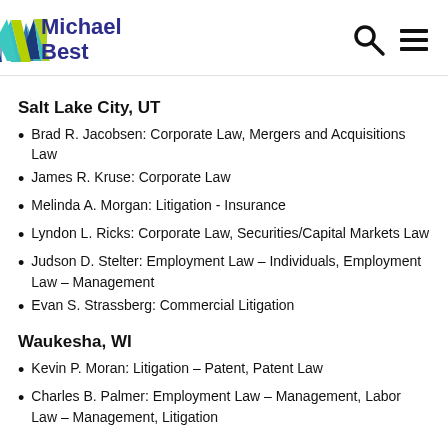[Figure (logo): Michael Best law firm logo with colorful M icon and dark blue text]
Salt Lake City, UT
Brad R. Jacobsen: Corporate Law, Mergers and Acquisitions Law
James R. Kruse: Corporate Law
Melinda A. Morgan: Litigation - Insurance
Lyndon L. Ricks: Corporate Law, Securities/Capital Markets Law
Judson D. Stelter: Employment Law – Individuals, Employment Law – Management
Evan S. Strassberg: Commercial Litigation
Waukesha, WI
Kevin P. Moran: Litigation – Patent, Patent Law
Charles B. Palmer: Employment Law – Management, Labor Law – Management, Litigation